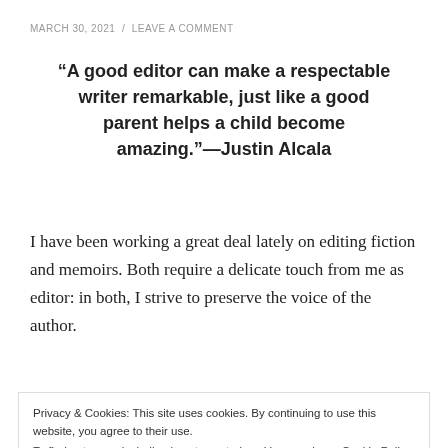MARCH 30, 2021  /  LEAVE A COMMENT
“A good editor can make a respectable writer remarkable, just like a good parent helps a child become amazing.”—Justin Alcala
I have been working a great deal lately on editing fiction and memoirs. Both require a delicate touch from me as editor: in both, I strive to preserve the voice of the author.
The difficulty with this is that I must show them how to
Privacy & Cookies: This site uses cookies. By continuing to use this website, you agree to their use.
To find out more, including how to control cookies, see here: Cookie Policy
Close and accept
With the author, I always create a style sheet and